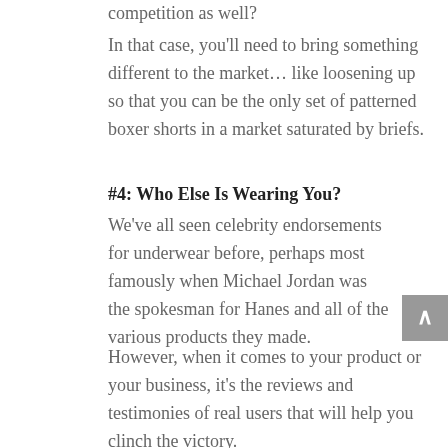competition as well?
In that case, you'll need to bring something different to the market… like loosening up so that you can be the only set of patterned boxer shorts in a market saturated by briefs.
#4: Who Else Is Wearing You?
We've all seen celebrity endorsements for underwear before, perhaps most famously when Michael Jordan was the spokesman for Hanes and all of the various products they made.
However, when it comes to your product or your business, it's the reviews and testimonies of real users that will help you clinch the victory.